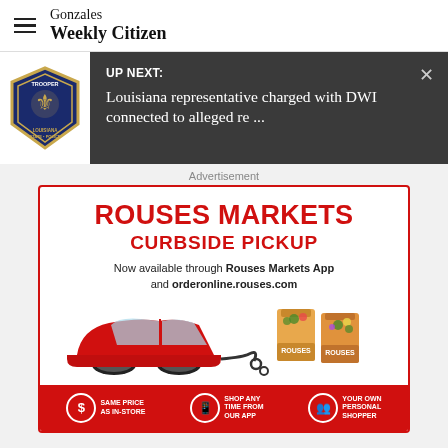Gonzales Weekly Citizen
[Figure (screenshot): UP NEXT banner with Louisiana State Police badge image and headline: Louisiana representative charged with DWI connected to alleged re ...]
Advertisement
[Figure (infographic): Rouses Markets Curbside Pickup advertisement. Now available through Rouses Markets App and orderonline.rouses.com. Features: Same Price As In-Store, Shop Any Time From Our App, Your Own Personal Shopper.]